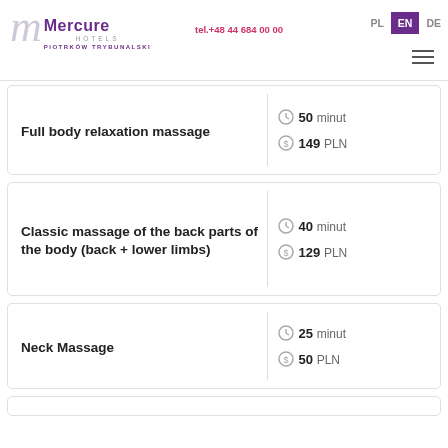Mercure Hotels Piotrkow Trybunalski | tel.+48 44 684 00 00 | EN
Full body relaxation massage | 50 minut | 149 PLN
Classic massage of the back parts of the body (back + lower limbs) | 40 minut | 129 PLN
Neck Massage | 25 minut | 50 PLN